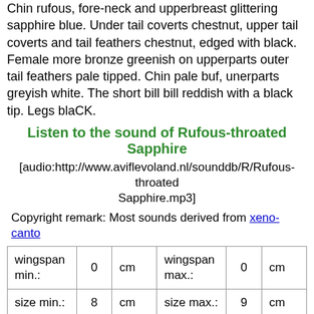Chin rufous, fore-neck and upperbreast glittering sapphire blue. Under tail coverts chestnut, upper tail coverts and tail feathers chestnut, edged with black. Female more bronze greenish on upperparts outer tail feathers pale tipped. Chin pale buf, unerparts greyish white. The short bill bill reddish with a black tip. Legs blaCK.
Listen to the sound of Rufous-throated Sapphire
[audio:http://www.aviflevoland.nl/sounddb/R/Rufous-throated Sapphire.mp3]
Copyright remark: Most sounds derived from xeno-canto
| wingspan min.: | 0 | cm | wingspan max.: | 0 | cm |
| size min.: | 8 | cm | size max.: | 9 | cm |
| incubation min.: | 14 | days | incubation max.: | 16 | days |